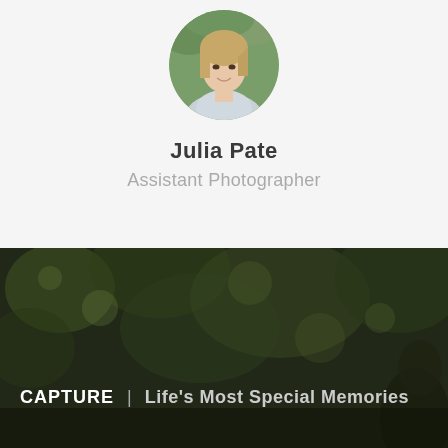[Figure (photo): Circular profile photo of a young woman with long blonde hair, smiling, outdoors with green foliage background]
Julia Pate
Assistant Photographer
[Figure (photo): Dark blurred outdoor background with bokeh foliage, featuring a partial silhouette on the right side]
CAPTURE | Life's Most Special Memories